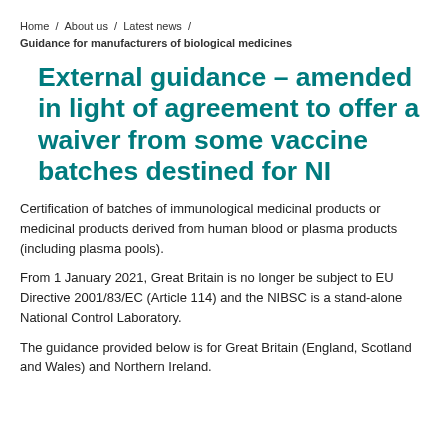Home / About us / Latest news / Guidance for manufacturers of biological medicines
External guidance – amended in light of agreement to offer a waiver from some vaccine batches destined for NI
Certification of batches of immunological medicinal products or medicinal products derived from human blood or plasma products (including plasma pools).
From 1 January 2021, Great Britain is no longer be subject to EU Directive 2001/83/EC (Article 114) and the NIBSC is a stand-alone National Control Laboratory.
The guidance provided below is for Great Britain (England, Scotland and Wales) and Northern Ireland.